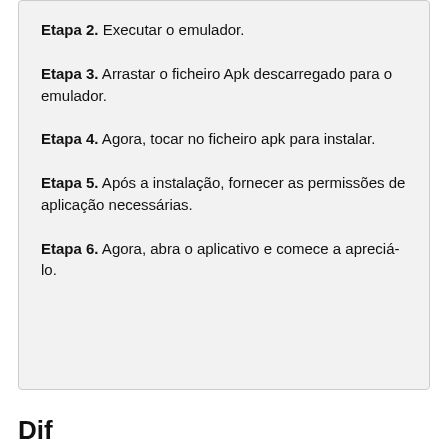Etapa 2. Executar o emulador.
Etapa 3. Arrastar o ficheiro Apk descarregado para o emulador.
Etapa 4. Agora, tocar no ficheiro apk para instalar.
Etapa 5. Após a instalação, fornecer as permissões de aplicação necessárias.
Etapa 6. Agora, abra o aplicativo e comece a apreciá-lo.
Dif...